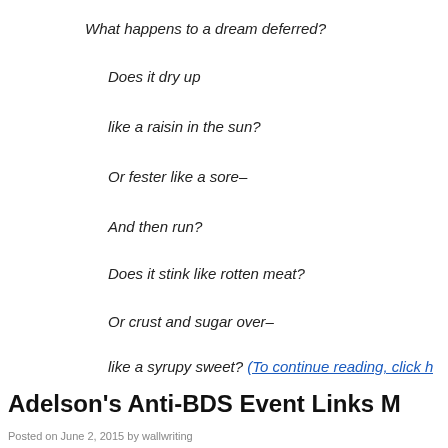What happens to a dream deferred?
Does it dry up
like a raisin in the sun?
Or fester like a sore–
And then run?
Does it stink like rotten meat?
Or crust and sugar over–
like a syrupy sweet? (To continue reading, click h
Adelson's Anti-BDS Event Links M
Posted on June 2, 2015 by wallwriting